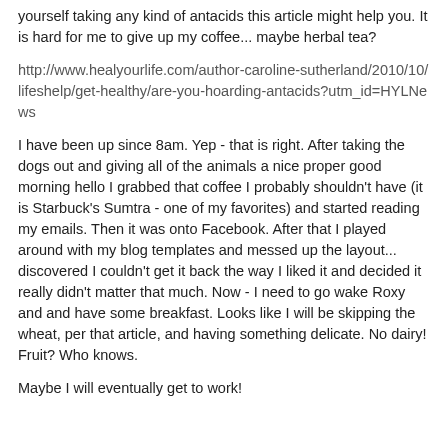yourself taking any kind of antacids this article might help you. It is hard for me to give up my coffee... maybe herbal tea?
http://www.healyourlife.com/author-caroline-sutherland/2010/10/lifeshelp/get-healthy/are-you-hoarding-antacids?utm_id=HYLNews
I have been up since 8am. Yep - that is right. After taking the dogs out and giving all of the animals a nice proper good morning hello I grabbed that coffee I probably shouldn't have (it is Starbuck's Sumtra - one of my favorites) and started reading my emails. Then it was onto Facebook. After that I played around with my blog templates and messed up the layout... discovered I couldn't get it back the way I liked it and decided it really didn't matter that much. Now - I need to go wake Roxy and and have some breakfast. Looks like I will be skipping the wheat, per that article, and having something delicate. No dairy! Fruit? Who knows.
Maybe I will eventually get to work!